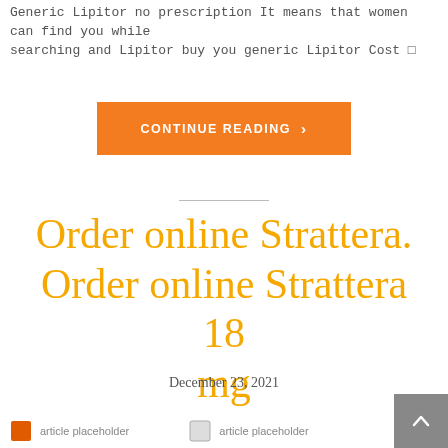Generic Lipitor no prescription It means that women can find you while searching and Lipitor buy you generic Lipitor Cost
[Figure (other): Orange 'CONTINUE READING >' button]
Order online Strattera. Order online Strattera 18 mg
December 23, 2021
[Figure (other): Gray back-to-top arrow button in bottom right corner]